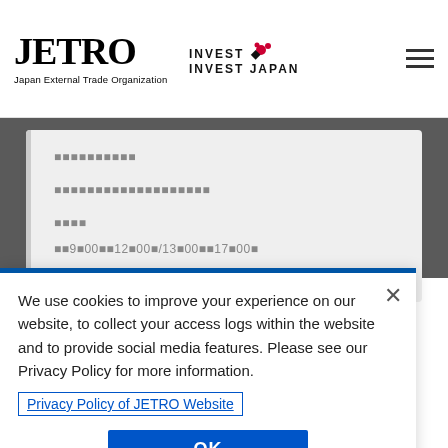[Figure (logo): JETRO logo with text 'Japan External Trade Organization' and 'INVEST JAPAN' branding with cherry blossom icon]
[Figure (screenshot): Gray background area with white card containing Japanese text lines and a cookie consent dialog overlay. Cookie dialog has blue top border, close X button, text about cookies and privacy policy link, and OK button.]
We use cookies to improve your experience on our website, to collect your access logs within the website and to provide social media features. Please see our Privacy Policy for more information.
Privacy Policy of JETRO Website